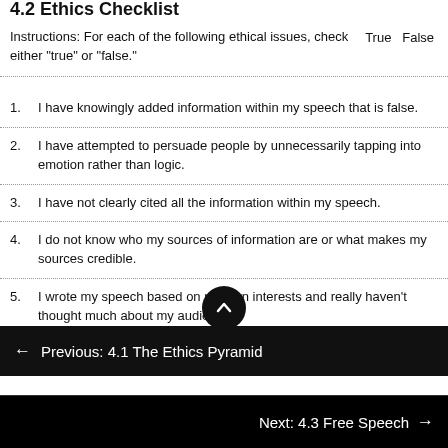4.2 Ethics Checklist
Instructions: For each of the following ethical issues, check either "true" or "false."   True   False
1. I have knowingly added information within my speech that is false.
2. I have attempted to persuade people by unnecessarily tapping into emotion rather than logic.
3. I have not clearly cited all the information within my speech.
4. I do not know who my sources of information are or what makes my sources credible.
5. I wrote my speech based on my own interests and really haven't thought much about my audience.
6. I haven't really thought much about my audience and…
← Previous: 4.1 The Ethics Pyramid
Next: 4.3 Free Speech →